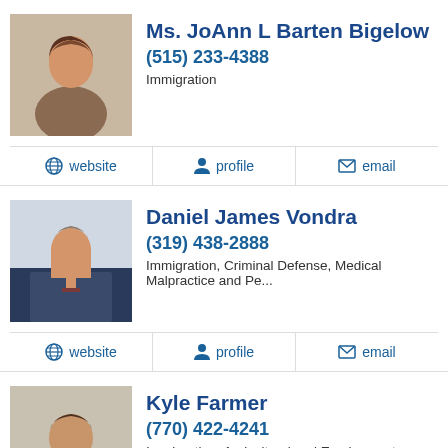[Figure (photo): Headshot of Ms. JoAnn L Barten Bigelow, a woman with brown hair smiling]
Ms. JoAnn L Barten Bigelow
(515) 233-4388
Immigration
website | profile | email
[Figure (photo): Headshot of Daniel James Vondra, a man in a suit and tie]
Daniel James Vondra
(319) 438-2888
Immigration, Criminal Defense, Medical Malpractice and Pe...
website | profile | email
[Figure (photo): Headshot of Kyle Farmer, a man in a shirt and tie]
Kyle Farmer
(770) 422-4241
Immigration, Agricultural and Employment